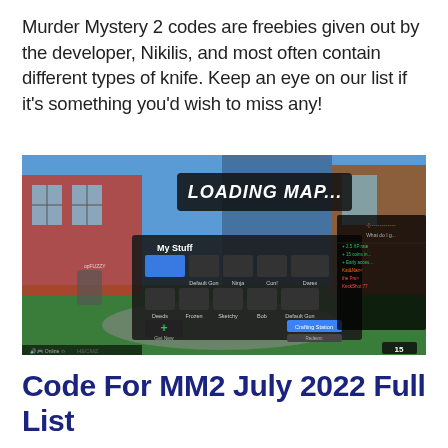Murder Mystery 2 codes are freebies given out by the developer, Nikilis, and most often contain different types of knife. Keep an eye on our list if it's something you'd wish to miss any!
[Figure (screenshot): Screenshot of Roblox Murder Mystery 2 game showing a loading screen with 'LOADING MAP...' text, an in-game shop UI showing 'My Stuff' with various knives, a 'Purchase' button, and a scoreboard on the right side. A timer showing '15' is visible in the bottom right corner.]
Code For MM2 July 2022 Full List